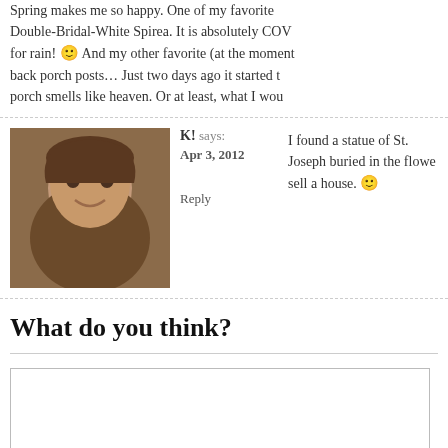Spring makes me so happy. One of my favorites is Double-Bridal-White Spirea. It is absolutely COVERED in blooms. Praying for rain! 🙂 And my other favorite (at the moment) is wisteria on my back porch posts… Just two days ago it started to bloom and my back porch smells like heaven. Or at least, what I would imagine heaven…
[Figure (photo): Profile photo of commenter K!, a woman with brown hair smiling, set against a blurred outdoor background]
K! says:
Apr 3, 2012

Reply
I found a statue of St. Joseph buried in the flower bed. Previous owners must have buried it to sell a house. 🙂
What do you think?